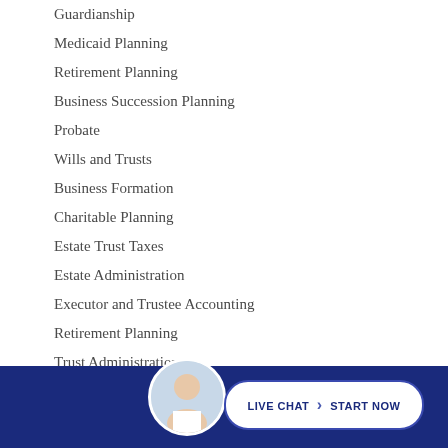Guardianship
Medicaid Planning
Retirement Planning
Business Succession Planning
Probate
Wills and Trusts
Business Formation
Charitable Planning
Estate Trust Taxes
Estate Administration
Executor and Trustee Accounting
Retirement Planning
Trust Administration
Trusts Estates Litigation
Estate Planning Lawyer
[Figure (infographic): Dark blue footer bar with a circular avatar photo of a smiling woman and a white rounded button reading LIVE CHAT > START NOW]